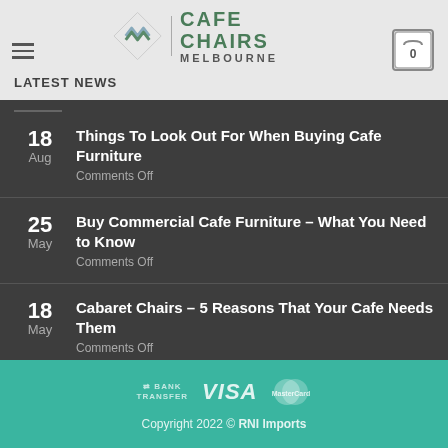CAFE CHAIRS MELBOURNE | LATEST NEWS
18 Aug — Things To Look Out For When Buying Cafe Furniture — Comments Off
25 May — Buy Commercial Cafe Furniture – What You Need to Know — Comments Off
18 May — Cabaret Chairs – 5 Reasons That Your Cafe Needs Them — Comments Off
Copyright 2022 © RNI Imports